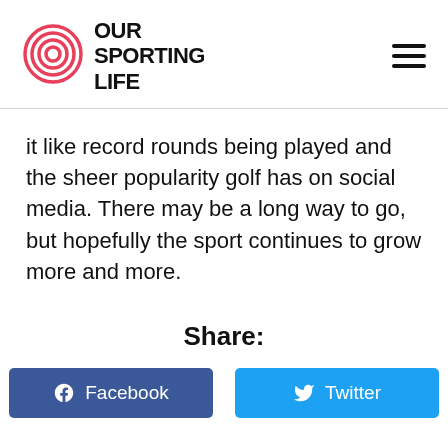Our Sporting Life
it like record rounds being played and the sheer popularity golf has on social media. There may be a long way to go, but hopefully the sport continues to grow more and more.
Share:
Facebook
Twitter